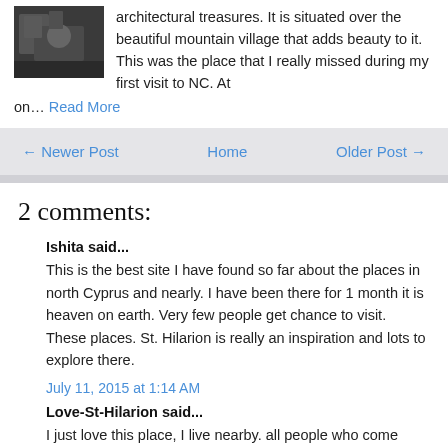architectural treasures. It is situated over the beautiful mountain village that adds beauty to it. This was the place that I really missed during my first visit to NC. At on… Read More
← Newer Post   Home   Older Post →
2 comments:
Ishita said...
This is the best site I have found so far about the places in north Cyprus and nearly. I have been there for 1 month it is heaven on earth. Very few people get chance to visit. These places. St. Hilarion is really an inspiration and lots to explore there.
July 11, 2015 at 1:14 AM
Love-St-Hilarion said...
I just love this place, I live nearby. all people who come here should visit this castle. St. Hilarion is so beautiful, you can visit this throughout the year.
September 8, 2015 at 7:40 PM